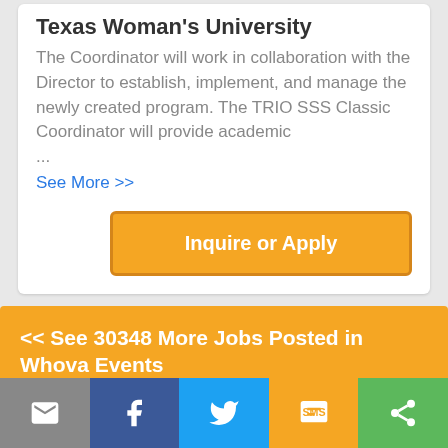Texas Woman's University
The Coordinator will work in collaboration with the Director to establish, implement, and manage the newly created program. The TRIO SSS Classic Coordinator will provide academic
...
See More >>
Inquire or Apply
<< See 30348 More Jobs Posted in Whova Events